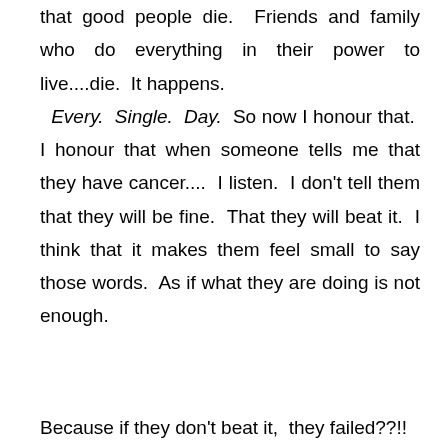that good people die.  Friends and family who do everything in their power to live....die.  It happens.  Every. Single. Day.  So now I honour that.  I honour that when someone tells me that they have cancer....  I listen.  I don't tell them that they will be fine.  That they will beat it.  I think that it makes them feel small to say those words.  As if what they are doing is not enough.
Because if they don't beat it,  they failed??!!